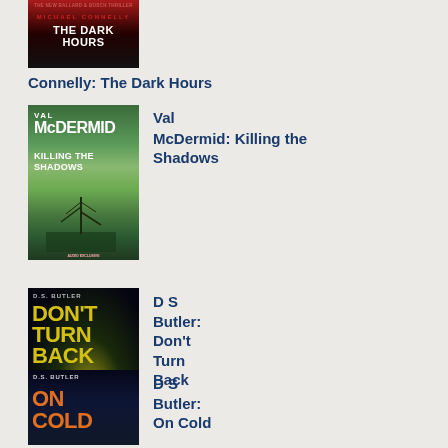[Figure (illustration): Book cover for Connelly: The Dark Hours]
Connelly: The Dark Hours
[Figure (illustration): Book cover for Val McDermid: Killing the Shadows]
Val
McDermid: Killing the Shadows
[Figure (illustration): Book cover for D S Butler: Don't Turn Back]
D S Butler: Don't Turn Back
[Figure (illustration): Book cover for D S Butler: On Cold]
D S Butler: On Cold